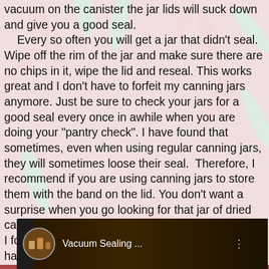[Figure (photo): Background photo of red and green chili peppers]
vacuum on the canister the jar lids will suck down and give you a good seal.
    Every so often you will get a jar that didn't seal. Wipe off the rim of the jar and make sure there are no chips in it, wipe the lid and reseal. This works great and I don't have to forfeit my canning jars anymore. Just be sure to check your jars for a good seal every once in awhile when you are doing your "pantry check". I have found that sometimes, even when using regular canning jars, they will sometimes loose their seal.  Therefore, I recommend if you are using canning jars to store them with the band on the lid. You don't want a surprise when you go looking for that jar of dried carrots or something.
I found a decent video of how all this works and have it here.
[Figure (screenshot): Video thumbnail for 'Vacuum Sealing ...' showing jars on shelves with a circular profile image]